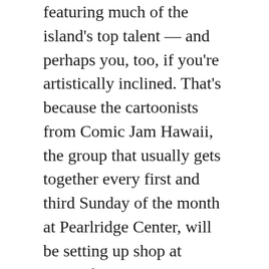featuring much of the island's top talent — and perhaps you, too, if you're artistically inclined. That's because the cartoonists from Comic Jam Hawaii, the group that usually gets together every first and third Sunday of the month at Pearlridge Center, will be setting up shop at JCCH from 1 to 3 p.m. Saturday outside the gallery, drawing manga-themed pieces and offering inspiration for attendees to do so as well. Drawing materials will be provided.
Joining them will be some of the artists featured in the exhibit — Roy Chang, Audra Furuichi, Jon Murakami and Kyunyo. They'll be taking a limited number of commissions for $15 each — come early to secure your spot. Or if